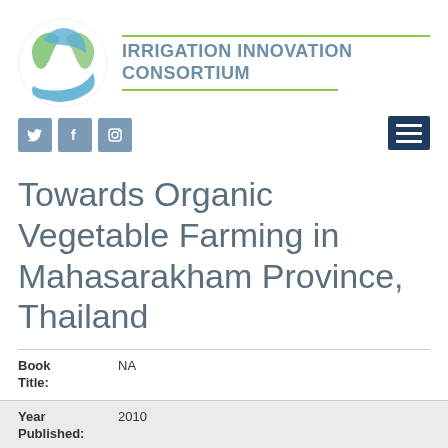[Figure (logo): Irrigation Innovation Consortium circular logo with blue and green leaf/water shapes]
IRRIGATION INNOVATION CONSORTIUM
[Figure (infographic): Social media icons: Twitter bird, Facebook f, Instagram camera. Plus hamburger menu icon.]
Towards Organic Vegetable Farming in Mahasarakham Province, Thailand
| Field | Value |
| --- | --- |
| Book Title: | NA |
| Year Published: | 2010 |
| Month Published: | NA |